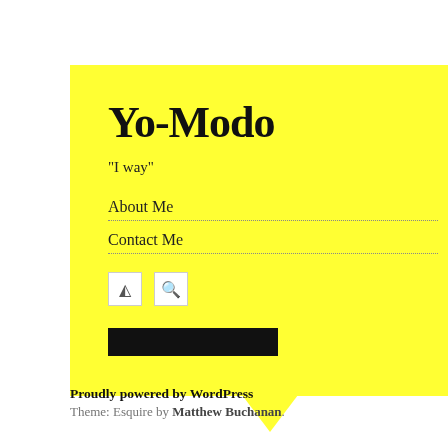Yo-Modo
"I way"
About Me
Contact Me
22 JUN
The
L
realize that (like all wo made:
He also ha up space w
Proudly powered by WordPress
Theme: Esquire by Matthew Buchanan.
Boyfriend